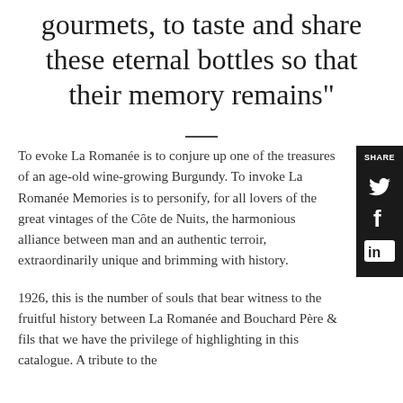gourmets, to taste and share these eternal bottles so that their memory remains"
To evoke La Romanée is to conjure up one of the treasures of an age-old wine-growing Burgundy. To invoke La Romanée Memories is to personify, for all lovers of the great vintages of the Côte de Nuits, the harmonious alliance between man and an authentic terroir, extraordinarily unique and brimming with history.
1926, this is the number of souls that bear witness to the fruitful history between La Romanée and Bouchard Père & fils that we have the privilege of highlighting in this catalogue. A tribute to the